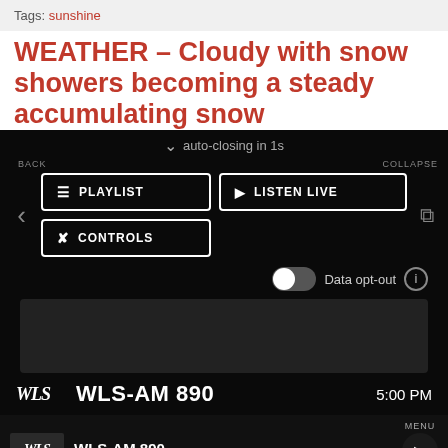Tags: sunshine
WEATHER – Cloudy with snow showers becoming a steady accumulating snow
[Figure (screenshot): Radio player overlay on dark background showing auto-closing countdown, PLAYLIST, LISTEN LIVE, CONTROLS buttons, Data opt-out toggle, ad placeholder, WLS-AM 890 station info at 5:00 PM, and bottom bar with WLS-AM 890 logo, station name, tagline, MENU label, play button, and X icon.]